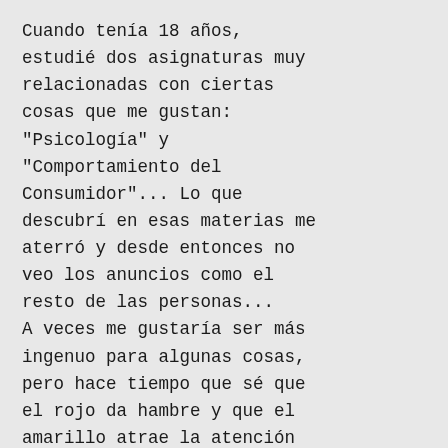Cuando tenía 18 años, estudié dos asignaturas muy relacionadas con ciertas cosas que me gustan: "Psicología" y "Comportamiento del Consumidor"... Lo que descubrí en esas materias me aterró y desde entonces no veo los anuncios como el resto de las personas...
A veces me gustaría ser más ingenuo para algunas cosas, pero hace tiempo que sé que el rojo da hambre y que el amarillo atrae la atención :-(((((